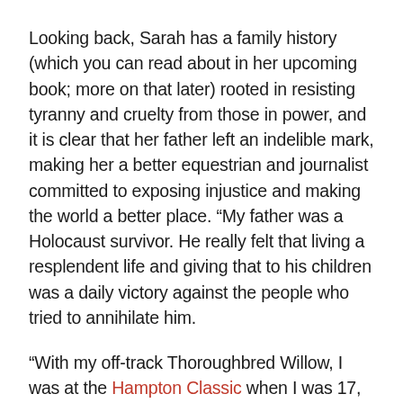Looking back, Sarah has a family history (which you can read about in her upcoming book; more on that later) rooted in resisting tyranny and cruelty from those in power, and it is clear that her father left an indelible mark, making her a better equestrian and journalist committed to exposing injustice and making the world a better place. “My father was a Holocaust survivor. He really felt that living a resplendent life and giving that to his children was a daily victory against the people who tried to annihilate him.
“With my off-track Thoroughbred Willow, I was at the Hampton Classic when I was 17, and we earned second place out of 60 riders. I was a teenage girl, and I didn’t think much of myself. I